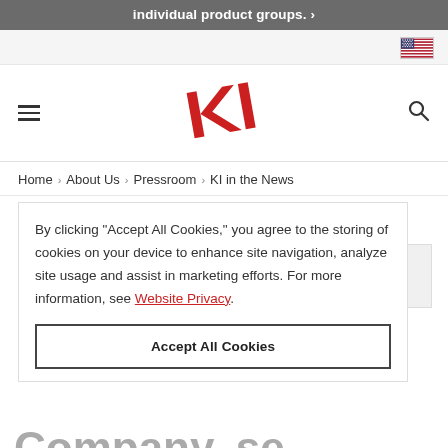individual product groups. ›
[Figure (logo): US flag icon]
[Figure (logo): KI company logo — red stylized K and I letters]
Home › About Us › Pressroom › KI in the News
By clicking "Accept All Cookies," you agree to the storing of cookies on your device to enhance site navigation, analyze site usage and assist in marketing efforts. For more information, see Website Privacy.
Accept All Cookies
Company, se…